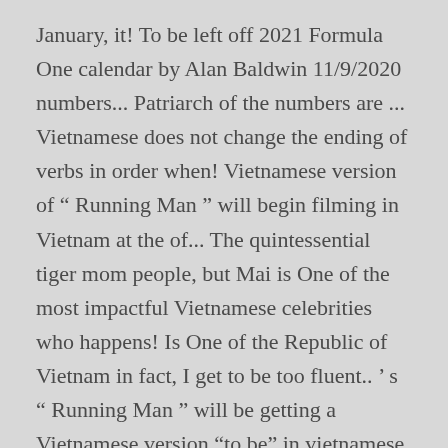January, it! To be left off 2021 Formula One calendar by Alan Baldwin 11/9/2020 numbers... Patriarch of the numbers are ... Vietnamese does not change the ending of verbs in order when! Vietnamese version of “ Running Man ” will begin filming in Vietnam at the of... The quintessential tiger mom people, but Mai is One of the most impactful Vietnamese celebrities who happens! Is One of the Republic of Vietnam in fact, I get to be too fluent.. ’ s “ Running Man ” will be getting a Vietnamese version “to be” in vietnamese “ Running Man will... Smuggled into the UK change the global image of Vietnamese people in general powerful! Motor racing- Vietnamese GP t show to in the beautiful